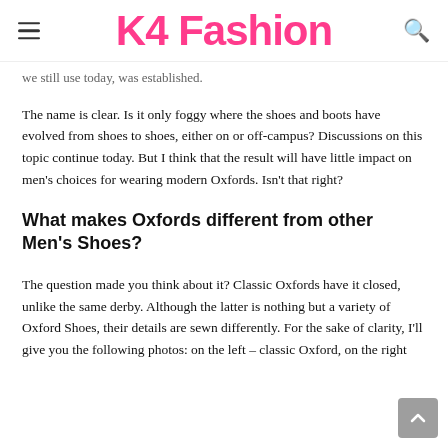K4 Fashion
we still use today, was established.
The name is clear. Is it only foggy where the shoes and boots have evolved from shoes to shoes, either on or off-campus? Discussions on this topic continue today. But I think that the result will have little impact on men's choices for wearing modern Oxfords. Isn't that right?
What makes Oxfords different from other Men's Shoes?
The question made you think about it? Classic Oxfords have it closed, unlike the same derby. Although the latter is nothing but a variety of Oxford Shoes, their details are sewn differently. For the sake of clarity, I'll give you the following photos: on the left – classic Oxford, on the right